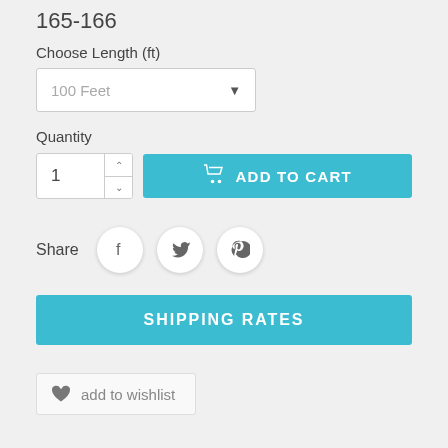165-166
Choose Length (ft)
100 Feet
Quantity
1
ADD TO CART
Share
SHIPPING RATES
add to wishlist